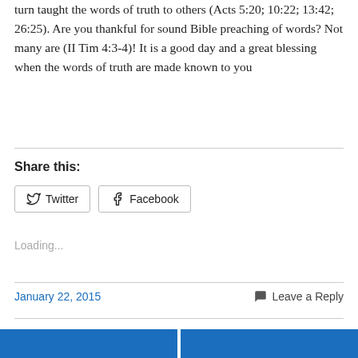turn taught the words of truth to others (Acts 5:20; 10:22; 13:42; 26:25). Are you thankful for sound Bible preaching of words? Not many are (II Tim 4:3-4)! It is a good day and a great blessing when the words of truth are made known to you
Share this:
[Figure (other): Twitter share button]
[Figure (other): Facebook share button]
Loading...
January 22, 2015
Leave a Reply
[Figure (other): Navigation bar with two blue previous/next post buttons]